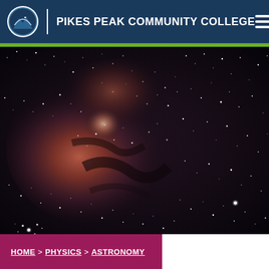PIKES PEAK COMMUNITY COLLEGE
[Figure (photo): Night sky / Milky Way galaxy photograph showing dense star field with reddish-pink nebula region in the center-left, dark space with scattered stars throughout]
HOME > PHYSICS > ASTRONOMY